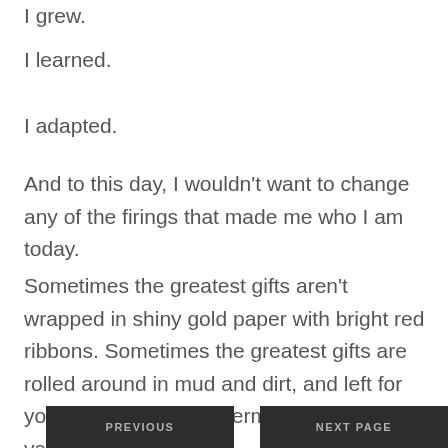I grew.
I learned.
I adapted.
And to this day, I wouldn't want to change any of the firings that made me who I am today.
Sometimes the greatest gifts aren't wrapped in shiny gold paper with bright red ribbons. Sometimes the greatest gifts are rolled around in mud and dirt, and left for you to unwrap and determine their true value.
PREVIOUS   NEXT PAGE